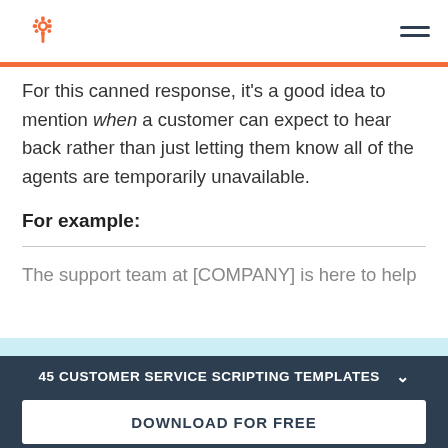HubSpot logo and navigation menu
For this canned response, it's a good idea to mention when a customer can expect to hear back rather than just letting them know all of the agents are temporarily unavailable.
For example:
The support team at [COMPANY] is here to help
45 CUSTOMER SERVICE SCRIPTING TEMPLATES
Map out your customer support response strategy with these free templates.
DOWNLOAD FOR FREE